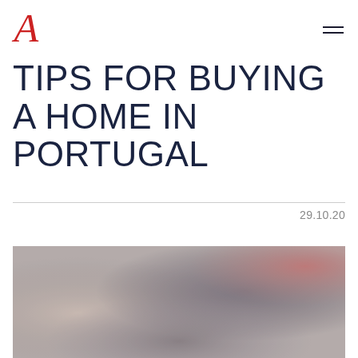A (logo) — navigation header with hamburger menu
TIPS FOR BUYING A HOME IN PORTUGAL
29.10.20
[Figure (photo): Blurred interior or architectural photo, muted tones with pinkish-red accent in top right corner]